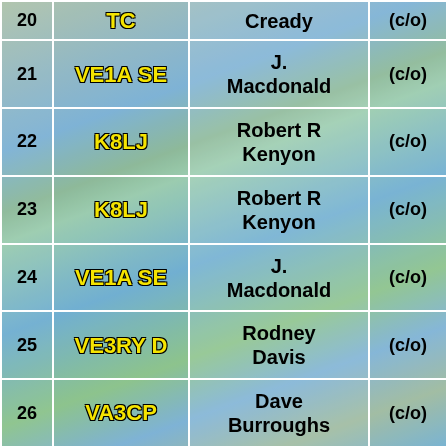| # | Callsign | Name | c/o |
| --- | --- | --- | --- |
| 20 | TC | Cready | (c/o) |
| 21 | VE1A SE | J. Macdonald | (c/o) |
| 22 | K8LJ | Robert R Kenyon | (c/o) |
| 23 | K8LJ | Robert R Kenyon | (c/o) |
| 24 | VE1A SE | J. Macdonald | (c/o) |
| 25 | VE3RYD | Rodney Davis | (c/o) |
| 26 | VA3CP | Dave Burroughs | (c/o) |